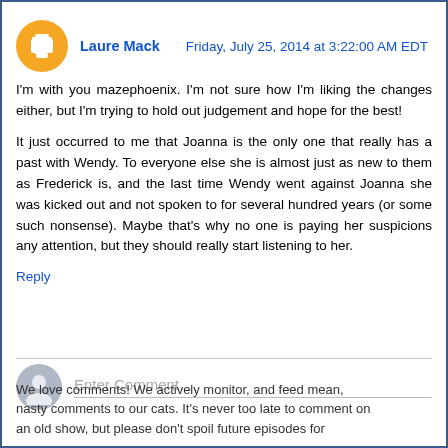Laure Mack   Friday, July 25, 2014 at 3:22:00 AM EDT
I'm with you mazephoenix. I'm not sure how I'm liking the changes either, but I'm trying to hold out judgement and hope for the best!
It just occurred to me that Joanna is the only one that really has a past with Wendy. To everyone else she is almost just as new to them as Frederick is, and the last time Wendy went against Joanna she was kicked out and not spoken to for several hundred years (or some such nonsense). Maybe that's why no one is paying her suspicions any attention, but they should really start listening to her.
Reply
Enter Comment
We love comments! We actively monitor, and feed mean, nasty comments to our cats. It's never too late to comment on an old show, but please don't spoil future episodes for